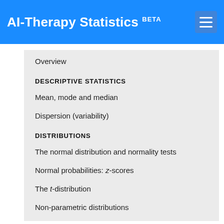AI-Therapy Statistics BETA
Overview
DESCRIPTIVE STATISTICS
Mean, mode and median
Dispersion (variability)
DISTRIBUTIONS
The normal distribution and normality tests
Normal probabilities: z-scores
The t-distribution
Non-parametric distributions
COMPARING VARIABLES
Correlation
Linear regression
HYPOTHESIS TESTING